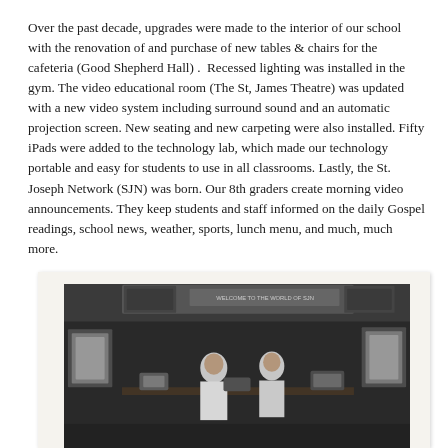Over the past decade, upgrades were made to the interior of our school with the renovation of and purchase of new tables & chairs for the cafeteria (Good Shepherd Hall) .  Recessed lighting was installed in the gym. The video educational room (The St, James Theatre) was updated with a new video system including surround sound and an automatic projection screen. New seating and new carpeting were also installed. Fifty iPads were added to the technology lab, which made our technology portable and easy for students to use in all classrooms. Lastly, the St. Joseph Network (SJN) was born. Our 8th graders create morning video announcements. They keep students and staff informed on the daily Gospel readings, school news, weather, sports, lunch menu, and much, much more.
[Figure (photo): Black and white photograph of students at what appears to be a video broadcast or media studio setup, with a screen/monitor in the background showing text 'WELCOME TO THE WORLD OF SJN' or similar.]